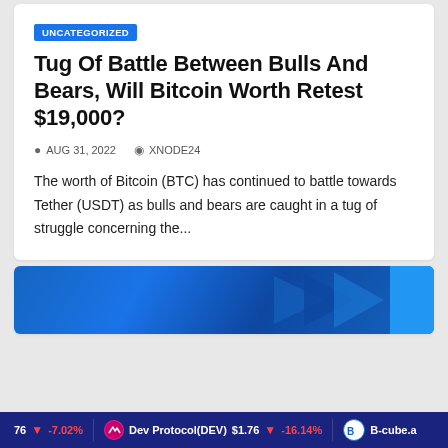UNCATEGORIZED
Tug Of Battle Between Bulls And Bears, Will Bitcoin Worth Retest $19,000?
AUG 31, 2022   XNODE24
The worth of Bitcoin (BTC) has continued to battle towards Tether (USDT) as bulls and bears are caught in a tug of struggle concerning the...
[Figure (photo): Partial view of a cryptocurrency-related image with blue background and geometric shapes, plus a blue button]
76  ↓ -7.02%   Dev Protocol(DEV)  $1.76  ↓ -16.14%   B-cube.a